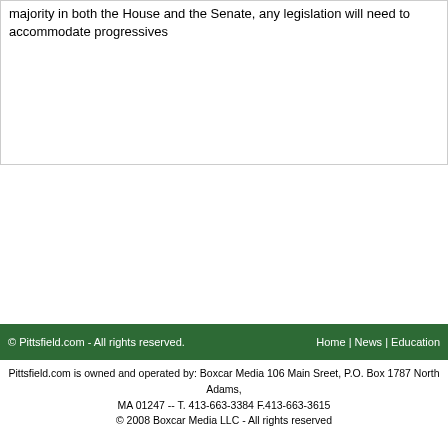majority in both the House and the Senate, any legislation will need to accommodate progressives
© Pittsfield.com - All rights reserved.    Home | News | Education
Pittsfield.com is owned and operated by: Boxcar Media 106 Main Sreet, P.O. Box 1787 North Adams, MA 01247 -- T. 413-663-3384 F.413-663-3615
© 2008 Boxcar Media LLC - All rights reserved